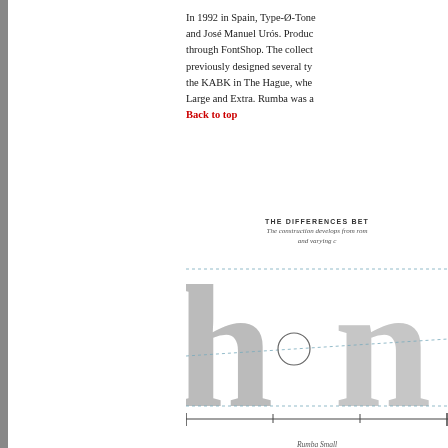In 1992 in Spain, Type-Ø-Tone was founded by Joan Barjau, Enric Jardí, Laura Meseguer and José Manuel Urós. Produced as a cooperative, their typefaces are distributed through FontShop. The collection now contains around sixty fonts. Laura Meseguer previously designed several typefaces and collaborated with Erik van Blokland during the KABK in The Hague, where her Rumba typeface was developed in three versions: Large and Extra. Rumba was a...
Back to top
[Figure (illustration): Diagram showing differences between type styles, with large gray letterforms 'h' and partial letterform, dotted reference lines for cap height and baseline, a circle annotation at the arch junction, ruler ticks at bottom, and label 'Rumba Small' below.]